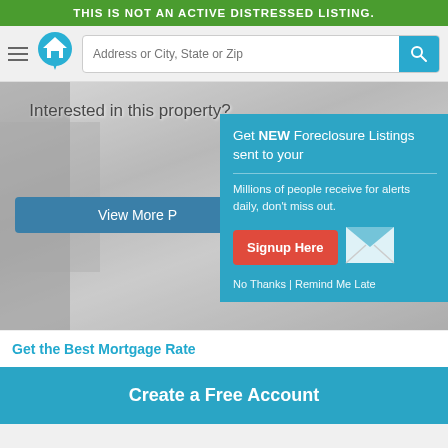THIS IS NOT AN ACTIVE DISTRESSED LISTING.
[Figure (screenshot): Website navigation bar with hamburger menu, house logo, address search input, and teal search button]
[Figure (photo): Property photo background with semi-transparent overlay showing 'Interested in this property?' text and 'View More' button]
[Figure (infographic): Teal popup panel: 'Get NEW Foreclosure Listings sent to your [inbox]' with Signup Here button and envelope icon]
Get the Best Mortgage Rate
Create a Free Account